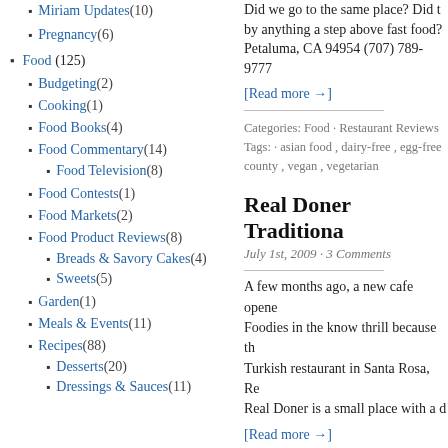Miriam Updates (10)
Pregnancy (6)
Food (125)
Budgeting (2)
Cooking (1)
Food Books (4)
Food Commentary (14)
Food Television (8)
Food Contests (1)
Food Markets (2)
Food Product Reviews (8)
Breads & Savory Cakes (4)
Sweets (5)
Garden (1)
Meals & Events (11)
Recipes (88)
Desserts (20)
Dressings & Sauces (11)
Did we go to the same place? Did t... by anything a step above fast food? Petaluma, CA 94954 (707) 789-9777
[Read more →]
Categories: Food · Restaurant Reviews · Tags: · asian food , dairy-free , egg-free... county , vegan , vegetarian
Real Doner Traditiona...
July 1st, 2009 · 3 Comments
A few months ago, a new cafe opene... Foodies in the know thrill because th... Turkish restaurant in Santa Rosa, Re... Real Doner is a small place with a d...
[Read more →]